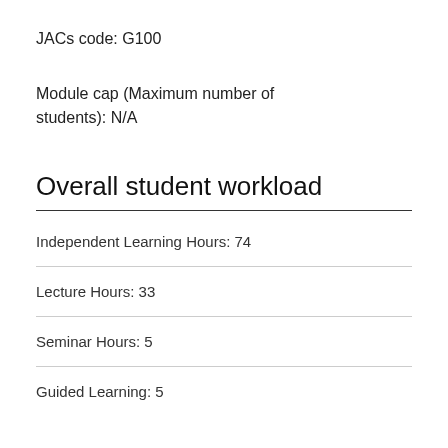JACs code: G100
Module cap (Maximum number of students): N/A
Overall student workload
| Independent Learning Hours: 74 |
| Lecture Hours: 33 |
| Seminar Hours: 5 |
| Guided Learning: 5 |